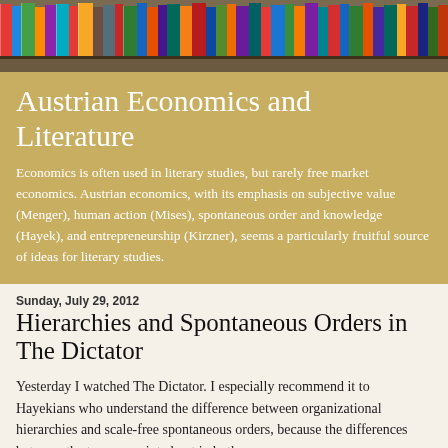[Figure (photo): Colorful bookshelf with many books of various colors arranged on wooden shelves, viewed from below/front]
Austrian Economics and Literature
Economics is often used in literary studies, but rarely free market economics. Austrian economics, with its emphasis on subjective value (Menger), human action (Mises), spontaneous order and knowledge (Hayek), and entrepreneurship (Kirzner), seems a particularly fruitful source of ideas for literary studies.
Sunday, July 29, 2012
Hierarchies and Spontaneous Orders in The Dictator
Yesterday I watched The Dictator. I especially recommend it to Hayekians who understand the difference between organizational hierarchies and scale-free spontaneous orders, because the differences between the two are pointed out in both.